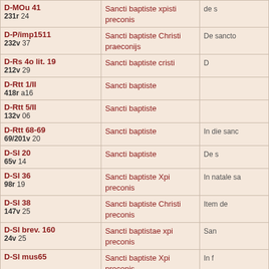| Source/Folio | Incipit | Rubric |
| --- | --- | --- |
| D-MOu 41
231r 24 | Sancti baptiste xpisti preconis | de s... |
| D-P/imp1511
232v 37 | Sancti baptiste Christi praeconijs | De sancto... |
| D-Rs 4o lit. 19
212v 29 | Sancti baptiste cristi | D... |
| D-Rtt 1/II
418r a16 | Sancti baptiste |  |
| D-Rtt 5/II
132v 06 | Sancti baptiste |  |
| D-Rtt 68-69
69/201v 20 | Sancti baptiste | In die sanc... |
| D-Sl 20
65v 14 | Sancti baptiste | De s... |
| D-Sl 36
98r 19 | Sancti baptiste Xpi preconis | In natale sa... |
| D-Sl 38
147v 25 | Sancti baptiste Christi preconis | Item de... |
| D-Sl brev. 160
24v 25 | Sancti baptistae xpi preconis | San... |
| D-Sl mus65 | Sancti baptiste Xpi preconis | In f... |